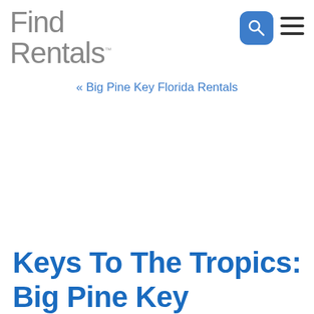Find Rentals.
« Big Pine Key Florida Rentals
Keys To The Tropics: Big Pine Key Florida Rentals...